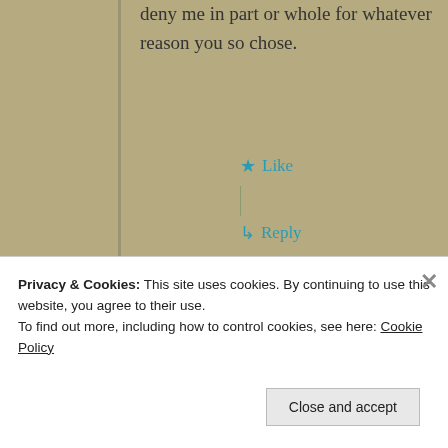deny me in part or whole for whatever reason you so chose.
Like
Reply
Poet of the Light
November 30, 2018 at 8:22 pm
Privacy & Cookies: This site uses cookies. By continuing to use this website, you agree to their use.
To find out more, including how to control cookies, see here: Cookie Policy
Close and accept